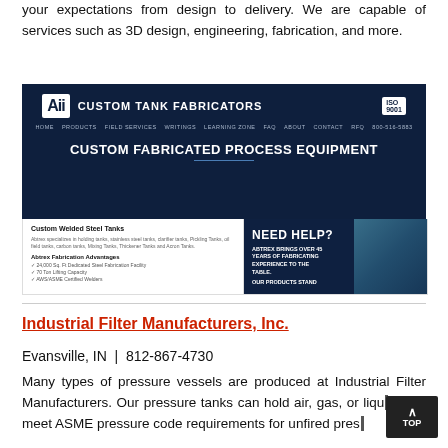your expectations from design to delivery. We are capable of services such as 3D design, engineering, fabrication, and more.
[Figure (screenshot): Screenshot of Custom Tank Fabricators website showing logo, navigation bar with HOME, PRODUCTS, FIELD SERVICES, WRITINGS, LEARNING ZONE, FAQ, ABOUT, CONTACT, RFQ, and phone number, with main heading CUSTOM FABRICATED PROCESS EQUIPMENT. Below shows Custom Welded Steel Tanks section with Abtrex Fabrication Advantages list (24,000 Sq. Ft Dedicated Steel Fabrication Facility, 70 Ton Lifting Capacity, AWS/ASME Certified Welders) and a NEED HELP? panel stating ABTREX BRINGS OVER 45 YEARS OF FABRICATING EXPERIENCE TO THE TABLE. OUR PRODUCTS STAND]
Industrial Filter Manufacturers, Inc.
Evansville, IN  |  812-867-4730
Many types of pressure vessels are produced at Industrial Filter Manufacturers. Our pressure tanks can hold air, gas, or liquid and meet ASME pressure code requirements for unfired pressure vessels.